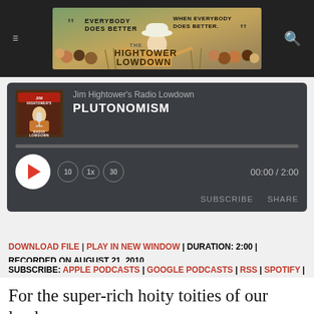[Figure (illustration): Hightower Lowdown website header banner with illustration of Jim Hightower with crowd and text 'Everybody Does Better When Everybody Does Better - The Hightower Lowdown']
[Figure (screenshot): Podcast audio player widget showing Jim Hightower's Radio Lowdown - PLUTONOMISM episode, with play button, progress bar, speed controls (10 back, 1x, 30 forward), time display 00:00 / 2:00, SUBSCRIBE and SHARE buttons]
DOWNLOAD FILE | PLAY IN NEW WINDOW | DURATION: 2:00 | RECORDED ON AUGUST 21, 2010
SUBSCRIBE: APPLE PODCASTS | GOOGLE PODCASTS | RSS | SPOTIFY | STITCHER
For the super-rich hoity toities of our land,